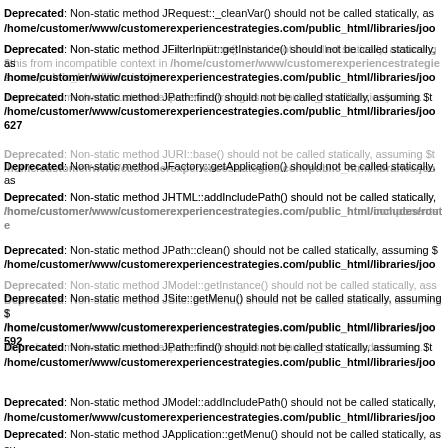Deprecated: Non-static method JRequest::_cleanVar() should not be called statically, as... /home/customer/www/customerexperiencestrategies.com/public_html/libraries/joo
Deprecated: Non-static method JError::isError() should not be called statically, assuming $this... Deprecated: Non-static method JFilterInput::getInstance() should not be called statically, as... /home/customer/www/customerexperiencestrategies.com/public_html/libraries/joo
/home/customer/www/customerexperiencestrategies.com/public_html/libraries/joomla... Deprecated: Non-static method JPath::find() should not be called statically, assuming $t... /home/customer/www/customerexperiencestrategies.com/public_html/libraries/joo 627
Deprecated: Non-static method JURI::base() should not be called statically, assuming $t... /home/customer/www/customerexperiencestrategies.com/public_html/libraries/joo Deprecated: Non-static method JFactory::getApplication() should not be called statically, as...
Deprecated: Non-static method JHTML::addIncludePath() should not be called statically, ... /home/customer/www/customerexperiencestrategies.com/public_html/components... /home/customer/www/customerexperiencestrategies.com/public_html/includes/route...
Deprecated: Non-static method JPath::clean() should not be called statically, assuming $... /home/customer/www/customerexperiencestrategies.com/public_html/libraries/joo
Deprecated: Non-static method JModel::getInstance() should not be called statically, ass... Deprecated: Non-static method JSite::getMenu() should not be called statically, assuming $... /home/customer/www/customerexperiencestrategies.com/public_html/libraries/joo 592
/home/customer/www/customerexperiencestrategies.com/public_html/includes/router... Deprecated: Non-static method JPath::find() should not be called statically, assuming $t... /home/customer/www/customerexperiencestrategies.com/public_html/libraries/joo
Deprecated: Non-static method JModel::addIncludePath() should not be called statically, ... /home/customer/www/customerexperiencestrategies.com/public_html/libraries/joo
Deprecated: Non-static method JApplication::getMenu() should not be called statically, assu... Deprecated: Non-static method JModel::_createFileName() should not be called staticall...